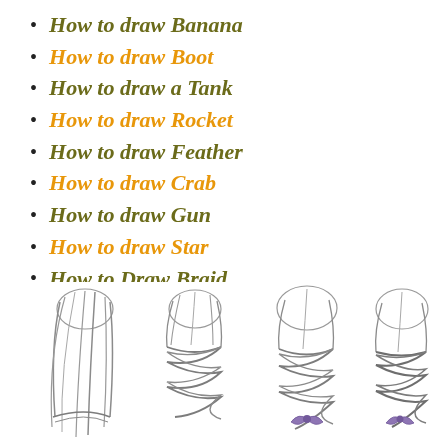How to draw Banana
How to draw Boot
How to draw a Tank
How to draw Rocket
How to draw Feather
How to draw Crab
How to draw Gun
How to draw Star
How to Draw Braid
[Figure (illustration): Four step-by-step pencil sketch illustrations showing how to draw a braid hairstyle, progressing from loose hair to a completed braid with a purple bow.]